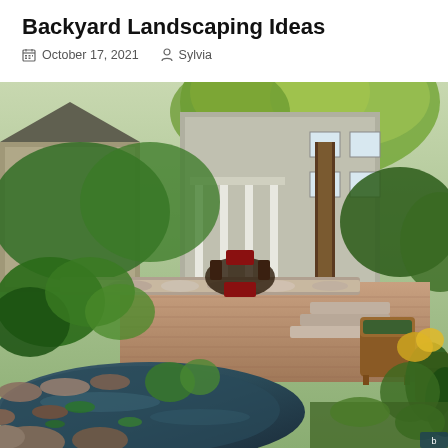Backyard Landscaping Ideas
October 17, 2021   Sylvia
[Figure (photo): A lush backyard garden with a pond in the foreground, brick patio with wicker chairs, outdoor dining set under a pergola, stone steps, abundant green plants and shrubs, large tree canopy overhead, and a multi-story house in the background.]